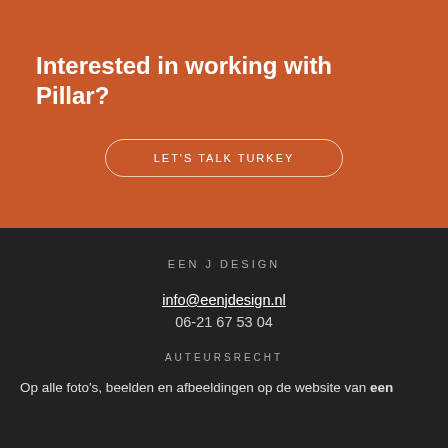Interested in working with Pillar?
LET'S TALK TURKEY
EEN J DESIGN
info@eenjdesign.nl
06-21 67 53 04
AUTEURSRECHT
Op alle foto's, beelden en afbeeldingen op de website van een